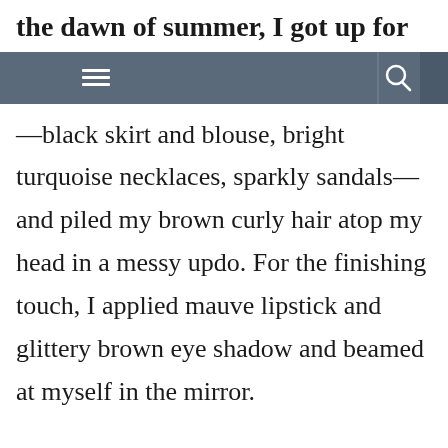the dawn of summer, I got up for
[Figure (screenshot): Navigation bar with hamburger menu icon on the left and search icon on the right, dark blue-gray background]
—black skirt and blouse, bright turquoise necklaces, sparkly sandals—and piled my brown curly hair atop my head in a messy updo. For the finishing touch, I applied mauve lipstick and glittery brown eye shadow and beamed at myself in the mirror.